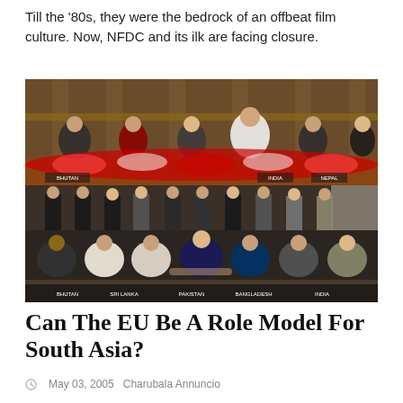Till the '80s, they were the bedrock of an offbeat film culture. Now, NFDC and its ilk are facing closure.
[Figure (photo): Group photo of South Asian leaders/delegates seated and standing at a formal summit, with country nameplates visible including Bhutan, Sri Lanka, Pakistan, Bangladesh, India, Nepal. Ornate hall setting with floral arrangements on a dais.]
Can The EU Be A Role Model For South Asia?
May 03, 2005   Charubala Annuncio